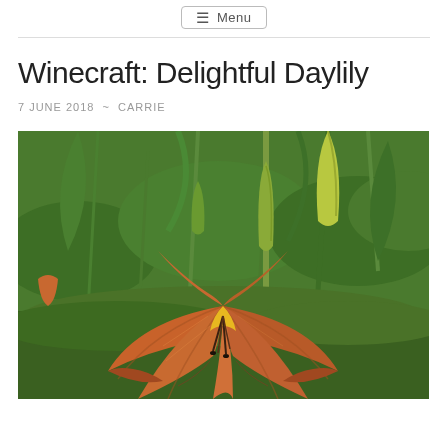Menu
Winecraft: Delightful Daylily
7 JUNE 2018 ~ CARRIE
[Figure (photo): Close-up photograph of an orange daylily flower in bloom with green foliage and unopened buds in the background]